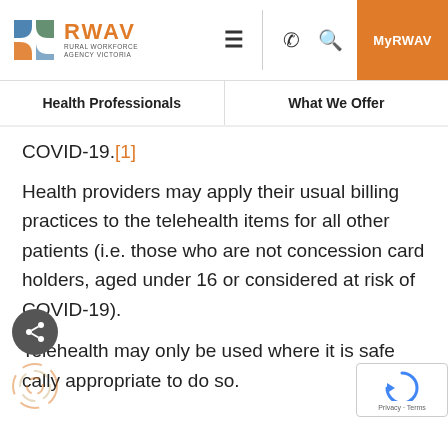[Figure (screenshot): RWAV (Rural Workforce Agency Victoria) website header navigation bar with logo, hamburger menu, phone icon, search icon, and MyRWAV button in orange]
Health Professionals | What We Offer
COVID-19.[1]
Health providers may apply their usual billing practices to the telehealth items for all other patients (i.e. those who are not concession card holders, aged under 16 or considered at risk of COVID-19).
Telehealth may only be used where it is safe and clinically appropriate to do so.